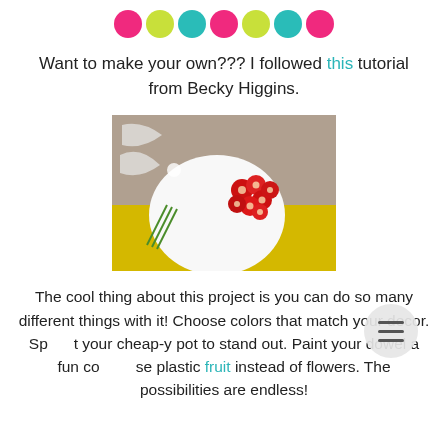[Figure (illustration): Row of seven colorful circles: pink, yellow-green, teal, pink, yellow-green, teal, pink]
Want to make your own??? I followed this tutorial from Becky Higgins.
[Figure (photo): A white round ball/egg with red flower decorations on the right side, set against a yellow and grey background with green stems visible.]
The cool thing about this project is you can do so many different things with it! Choose colors that match your decor. Spray your cheap-y pot to stand out. Paint your dowel a fun color. Use plastic fruit instead of flowers. The possibilities are endless!